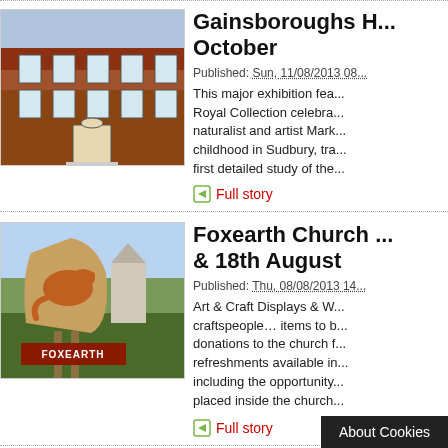[Figure (photo): Photo of a Georgian brick building (Gainsborough's House, Sudbury)]
Gainsboroughs H... October
Published: Sun, 11/08/2013 08...
This major exhibition fea... Royal Collection celebra... naturalist and artist Mark... childhood in Sudbury, tra... first detailed study of the...
Full story
[Figure (photo): Photo of Foxearth village sign with a fox and 'FOXEARTH' text]
Foxearth Church ... & 18th August
Published: Thu, 08/08/2013 14...
Art & Craft Displays & W... craftspeople… items to b... donations to the church f... refreshments available in... including the opportunity... placed inside the church...
Full story
[Figure (photo): Movie poster for Hitchcock film with HITCHCOCK text on red background]
Quay Theatre Film...
Published: Thu, 08/08/2013 10...
A love story between infl... wife A... g... Hitcho...
About Cookies